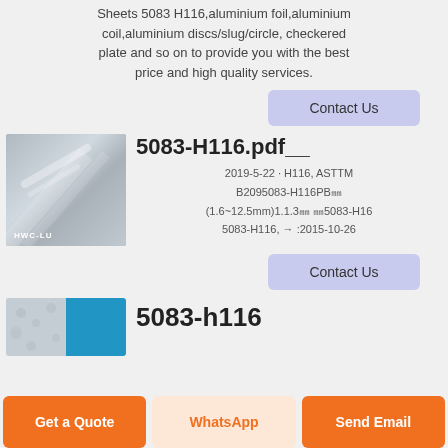Sheets 5083 H116,aluminium foil,aluminium coil,aluminium discs/slug/circle, checkered plate and so on to provide you with the best price and high quality services.
Contact Us
[Figure (photo): Photo of an aluminium sheet with HWC-LU watermark]
5083-H116.pdf__
2019-5-22 · H116, ASTTM B2095083-H116PB㎜(1.6~12.5mm)1.1.3㎜ ㎜5083-H16 5083-H116, → :2015-10-26
Contact Us
[Figure (photo): Photo of aluminium checkered/colored sheets]
5083-h116
Get a Quote
WhatsApp
Send Email